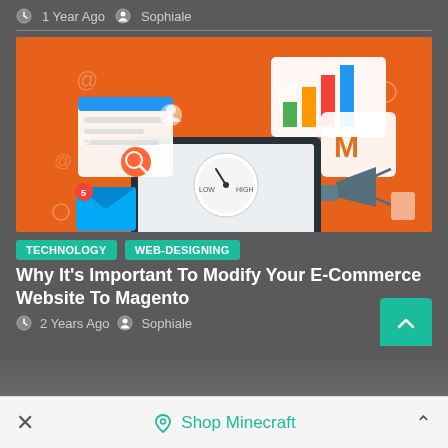1 Year Ago  Sophiale
[Figure (illustration): Orange background illustration showing e-commerce and web design icons: laptop with speedometer, bar chart, envelope, megaphone, Magento logo, web browser window, and various tech icons]
TECHNOLOGY  WEB-DESIGNING
Why It's Important To Modify Your E-Commerce Website To Magento
2 Years Ago  Sophiale
[Figure (other): Back to top arrow button (teal)]
× Shop Minecraft ^